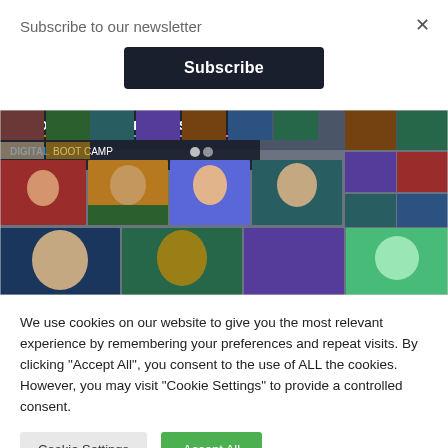Subscribe to our newsletter
× (close button)
Subscribe
[Figure (photo): Food & Climate Shapers Digital Boot Camp banner showing a mosaic grid of video call participant thumbnails with the event title overlay in the top-left corner.]
We use cookies on our website to give you the most relevant experience by remembering your preferences and repeat visits. By clicking "Accept All", you consent to the use of ALL the cookies. However, you may visit "Cookie Settings" to provide a controlled consent.
Cookie Settings
Accept All